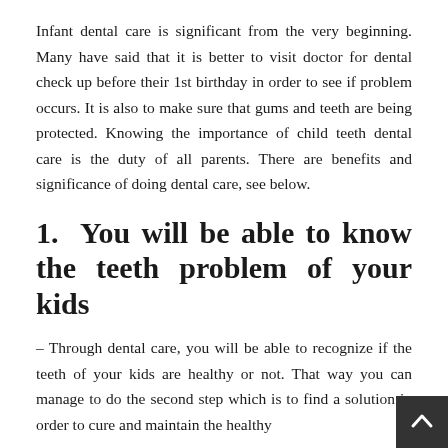Infant dental care is significant from the very beginning. Many have said that it is better to visit doctor for dental check up before their 1st birthday in order to see if problem occurs. It is also to make sure that gums and teeth are being protected. Knowing the importance of child teeth dental care is the duty of all parents. There are benefits and significance of doing dental care, see below.
1.  You will be able to know the teeth problem of your kids
– Through dental care, you will be able to recognize if the teeth of your kids are healthy or not. That way you can manage to do the second step which is to find a solution in order to cure and maintain the healthy